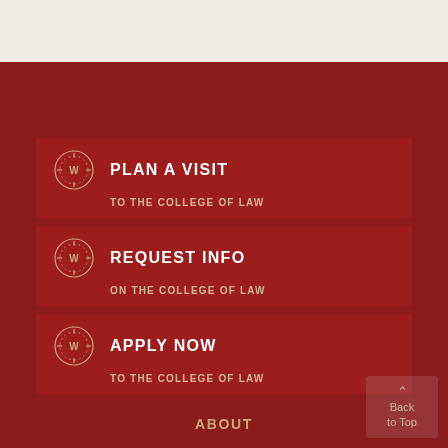PLAN A VISIT — TO THE COLLEGE OF LAW
REQUEST INFO — ON THE COLLEGE OF LAW
APPLY NOW — TO THE COLLEGE OF LAW
ABOUT
STORIES & NEWS
EVENTS
MAPS & DIRECTIONS
Back to Top